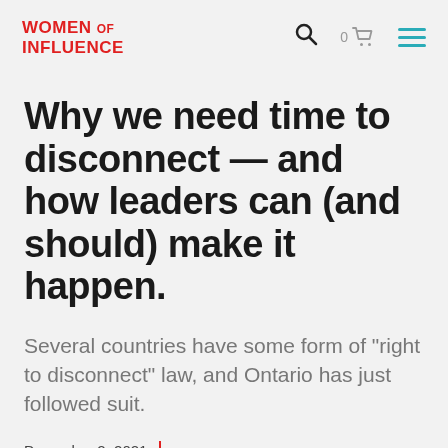WOMEN OF INFLUENCE
Why we need time to disconnect — and how leaders can (and should) make it happen.
Several countries have some form of "right to disconnect" law, and Ontario has just followed suit.
December 2, 2021